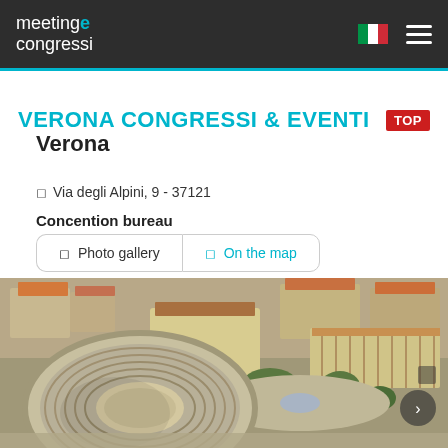meeting e congressi
VERONA CONGRESSI & EVENTI
Verona
Via degli Alpini, 9 - 37121
Concention bureau
Photo gallery   On the map
[Figure (photo): Aerial view of Verona showing the Arena di Verona (Roman amphitheatre) and surrounding piazza and historic buildings]